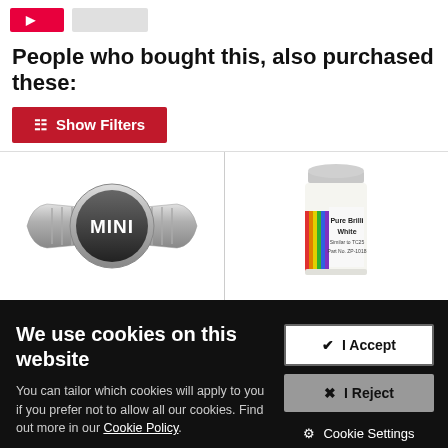People who bought this, also purchased these:
[Figure (other): Red 'Show Filters' button with filter icon]
[Figure (logo): MINI car brand logo with wings and black circle]
[Figure (photo): Paint bottle labeled 'Pure Brilliant White']
We use cookies on this website
You can tailor which cookies will apply to you if you prefer not to allow all our cookies. Find out more in our Cookie Policy.